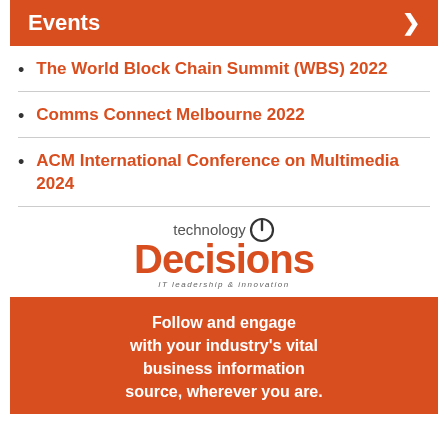Events
The World Block Chain Summit (WBS) 2022
Comms Connect Melbourne 2022
ACM International Conference on Multimedia 2024
[Figure (logo): technology Decisions logo — IT leadership & innovation]
Follow and engage with your industry's vital business information source, wherever you are.